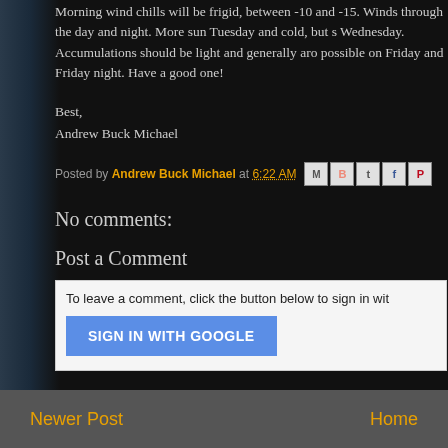Morning wind chills will be frigid, between -10 and -15. Winds through the day and night. More sun Tuesday and cold, but s Wednesday. Accumulations should be light and generally aro possible on Friday and Friday night. Have a good one!
Best,
Andrew Buck Michael
Posted by Andrew Buck Michael at 6:22 AM
No comments:
Post a Comment
To leave a comment, click the button below to sign in wit
SIGN IN WITH GOOGLE
Newer Post    Home